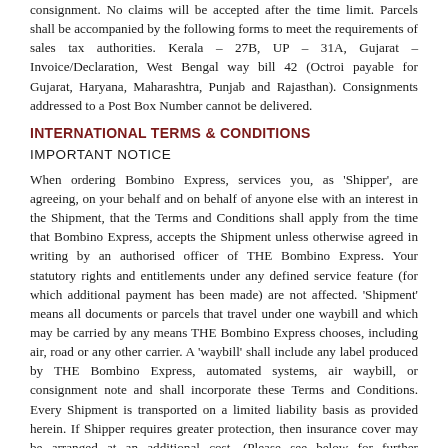consignment. No claims will be accepted after the time limit. Parcels shall be accompanied by the following forms to meet the requirements of sales tax authorities. Kerala – 27B, UP – 31A, Gujarat – Invoice/Declaration, West Bengal way bill 42 (Octroi payable for Gujarat, Haryana, Maharashtra, Punjab and Rajasthan). Consignments addressed to a Post Box Number cannot be delivered.
INTERNATIONAL TERMS & CONDITIONS
IMPORTANT NOTICE
When ordering Bombino Express, services you, as 'Shipper', are agreeing, on your behalf and on behalf of anyone else with an interest in the Shipment, that the Terms and Conditions shall apply from the time that Bombino Express, accepts the Shipment unless otherwise agreed in writing by an authorised officer of THE Bombino Express. Your statutory rights and entitlements under any defined service feature (for which additional payment has been made) are not affected. 'Shipment' means all documents or parcels that travel under one waybill and which may be carried by any means THE Bombino Express chooses, including air, road or any other carrier. A 'waybill' shall include any label produced by THE Bombino Express, automated systems, air waybill, or consignment note and shall incorporate these Terms and Conditions. Every Shipment is transported on a limited liability basis as provided herein. If Shipper requires greater protection, then insurance cover may be arranged at an additional cost. (Please see below for further information). Bombino Express means and includes any member of the THE Bombino Express, Worldwide Express Network.